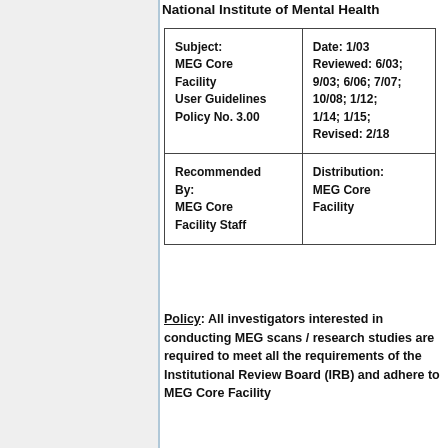National Institute of Mental Health
| Subject:
MEG Core Facility
User Guidelines
Policy No. 3.00 | Date: 1/03
Reviewed: 6/03; 9/03; 6/06; 7/07; 10/08; 1/12; 1/14; 1/15;
Revised: 2/18 |
| Recommended By:
MEG Core Facility Staff | Distribution:
MEG Core Facility |
Policy: All investigators interested in conducting MEG scans / research studies are required to meet all the requirements of the Institutional Review Board (IRB) and adhere to MEG Core Facility...